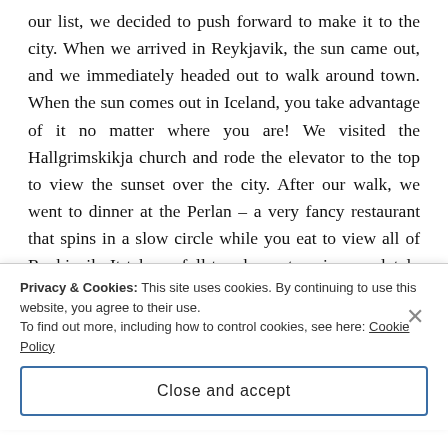our list, we decided to push forward to make it to the city. When we arrived in Reykjavik, the sun came out, and we immediately headed out to walk around town. When the sun comes out in Iceland, you take advantage of it no matter where you are! We visited the Hallgrimskikja church and rode the elevator to the top to view the sunset over the city. After our walk, we went to dinner at the Perlan – a very fancy restaurant that spins in a slow circle while you eat to view all of Reykjavik. It takes a full two hours to spin completely around, and our meal surprisingly took
Privacy & Cookies: This site uses cookies. By continuing to use this website, you agree to their use.
To find out more, including how to control cookies, see here: Cookie Policy
Close and accept